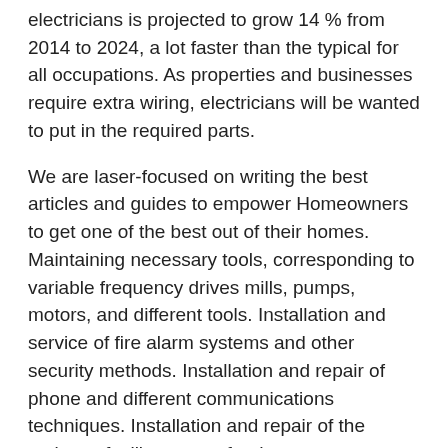electricians is projected to grow 14 % from 2014 to 2024, a lot faster than the typical for all occupations. As properties and businesses require extra wiring, electricians will be wanted to put in the required parts.
We are laser-focused on writing the best articles and guides to empower Homeowners to get one of the best out of their homes. Maintaining necessary tools, corresponding to variable frequency drives mills, pumps, motors, and different tools. Installation and service of fire alarm systems and other security methods. Installation and repair of phone and different communications techniques. Installation and repair of the mains to facility energy feed.
Although injury is often rare when all security measures are observed, accidents can still happen. Kam Kaj offers you an insurance amounting to Rs. 10,000 in opposition to any undue injury during the course of our electrician services near you. This superior testing and coaching is an additional benefit to you if “electrician companies near me” is frequent in your